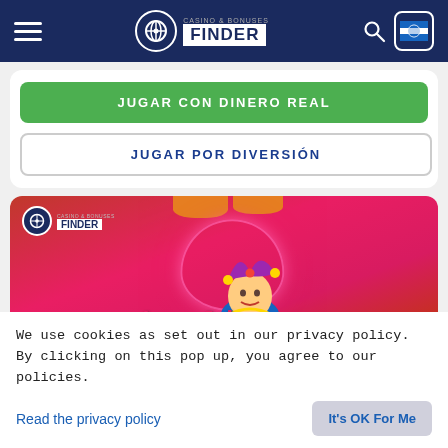Casino & Bonuses Finder
JUGAR CON DINERO REAL
JUGAR POR DIVERSIÓN
[Figure (screenshot): Casino & Bonuses Finder branded banner image for Love Joker slot game. Pink/red background with a jester character and heart shape, with 'Love Joker' text at the bottom.]
We use cookies as set out in our privacy policy. By clicking on this pop up, you agree to our policies.
Read the privacy policy
It's OK For Me